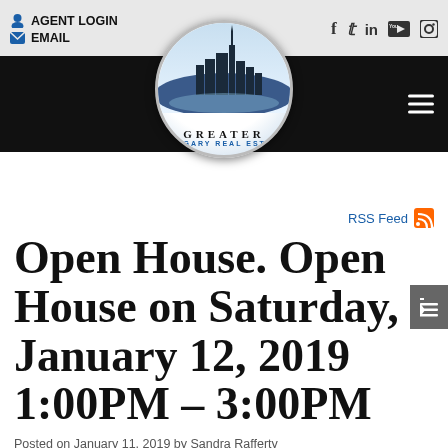AGENT LOGIN  EMAIL
[Figure (logo): Greater Calgary Real Estate logo — circular badge with city skyline, text GREATER and CALGARY REAL ESTATE]
RSS Feed
Open House. Open House on Saturday, January 12, 2019 1:00PM – 3:00PM
Posted on January 11, 2019 by Sandra Rafferty
Posted in: Ranchlands, Calgary Real Estate